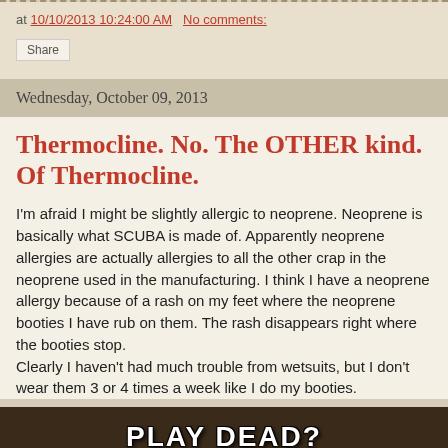at 10/10/2013 10:24:00 AM   No comments:
Share
Wednesday, October 09, 2013
Thermocline. No. The OTHER kind. Of Thermocline.
I'm afraid I might be slightly allergic to neoprene. Neoprene is basically what SCUBA is made of. Apparently neoprene allergies are actually allergies to all the other crap in the neoprene used in the manufacturing. I think I have a neoprene allergy because of a rash on my feet where the neoprene booties I have rub on them. The rash disappears right where the booties stop.
Clearly I haven't had much trouble from wetsuits, but I don't wear them 3 or 4 times a week like I do my booties.
[Figure (photo): Meme image with text PLAY DEAD? on dark background]